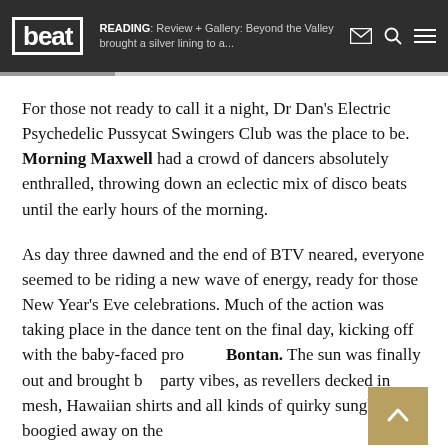beat | READING: Review + Gallery: Beyond the Valley brought a silver lining to a...
For those not ready to call it a night, Dr Dan’s Electric Psychedelic Pussycat Swingers Club was the place to be. Morning Maxwell had a crowd of dancers absolutely enthralled, throwing down an eclectic mix of disco beats until the early hours of the morning.
As day three dawned and the end of BTV neared, everyone seemed to be riding a new wave of energy, ready for those New Year’s Eve celebrations. Much of the action was taking place in the dance tent on the final day, kicking off with the baby-faced producer Bontan. The sun was finally out and brought big party vibes, as revellers decked in mesh, Hawaiian shirts and all kinds of quirky sunglasses boogied away on the